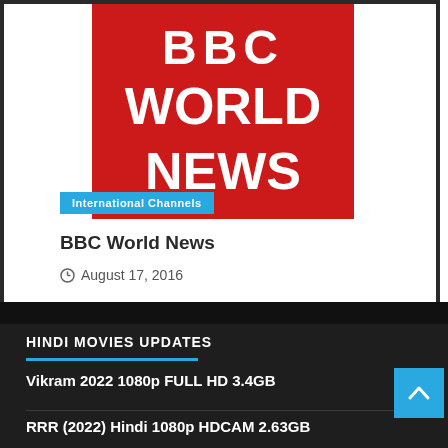[Figure (logo): BBC World News logo — red background with white text showing BBC letters at top and WORLD NEWS below]
International Channels
BBC World News
August 17, 2016
HINDI MOVIES UPDATES
Vikram 2022 1080p FULL HD 3.4GB
RRR (2022) Hindi 1080p HDCAM 2.63GB